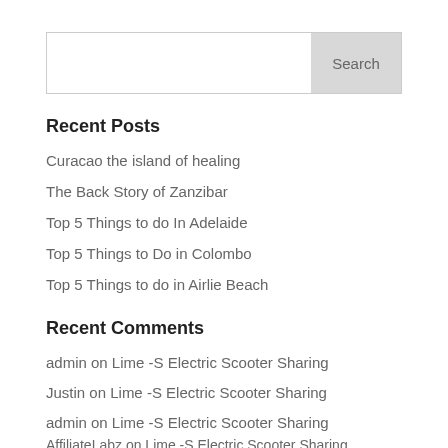Recent Posts
Curacao the island of healing
The Back Story of Zanzibar
Top 5 Things to do In Adelaide
Top 5 Things to Do in Colombo
Top 5 Things to do in Airlie Beach
Recent Comments
admin on Lime -S Electric Scooter Sharing
Justin on Lime -S Electric Scooter Sharing
admin on Lime -S Electric Scooter Sharing
AffiliateLabz on Lime -S Electric Scooter Sharing